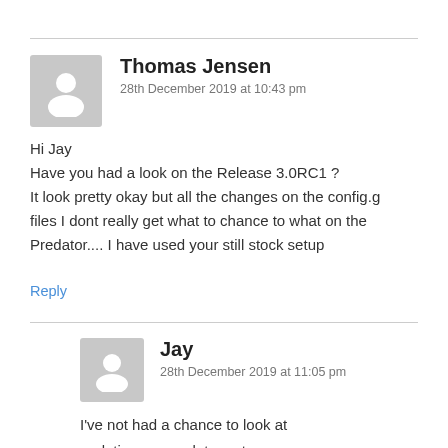Thomas Jensen
28th December 2019 at 10:43 pm
Hi Jay
Have you had a look on the Release 3.0RC1 ?
It look pretty okay but all the changes on the config.g files I dont really get what to chance to what on the Predator.... I have used your still stock setup
Reply
Jay
28th December 2019 at 11:05 pm
I've not had a chance to look at updating my predator yet.